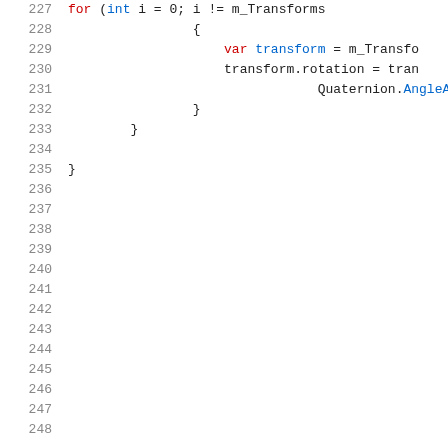Code listing lines 227-248. Lines 227-235 contain code:
227: for (int i = 0; i != m_Transforms
228: {
229: var transform = m_Transfo
230: transform.rotation = tran
231: Quaternion.AngleA
232: }
233: }
234: (empty)
235: }
Lines 236-248 are empty.